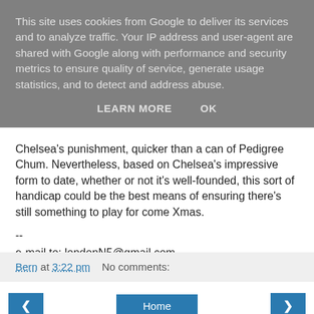This site uses cookies from Google to deliver its services and to analyze traffic. Your IP address and user-agent are shared with Google along with performance and security metrics to ensure quality of service, generate usage statistics, and to detect and address abuse.
LEARN MORE    OK
Chelsea's punishment, quicker than a can of Pedigree Chum. Nevertheless, based on Chelsea's impressive form to date, whether or not it's well-founded, this sort of handicap could be the best means of ensuring there's still something to play for come Xmas.
--
e-mail to: londonN5@gmail.com
Bern at 3:22 pm    No comments:
< Home >